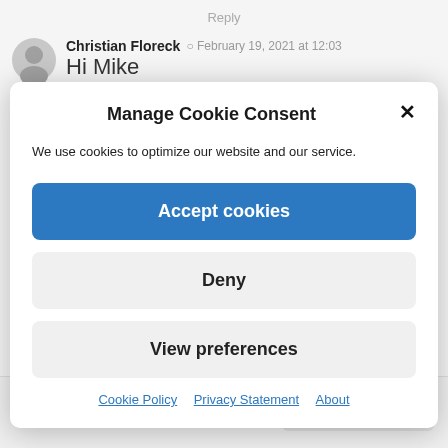Reply
Christian Floreck  February 19, 2021 at 12:03
Hi Mike
Manage Cookie Consent
We use cookies to optimize our website and our service.
Accept cookies
Deny
View preferences
Cookie Policy   Privacy Statement   About
Close and accept